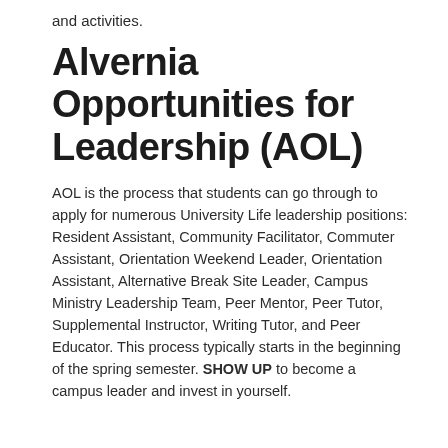and activities.
Alvernia Opportunities for Leadership (AOL)
AOL is the process that students can go through to apply for numerous University Life leadership positions: Resident Assistant, Community Facilitator, Commuter Assistant, Orientation Weekend Leader, Orientation Assistant, Alternative Break Site Leader, Campus Ministry Leadership Team, Peer Mentor, Peer Tutor, Supplemental Instructor, Writing Tutor, and Peer Educator. This process typically starts in the beginning of the spring semester. SHOW UP to become a campus leader and invest in yourself.